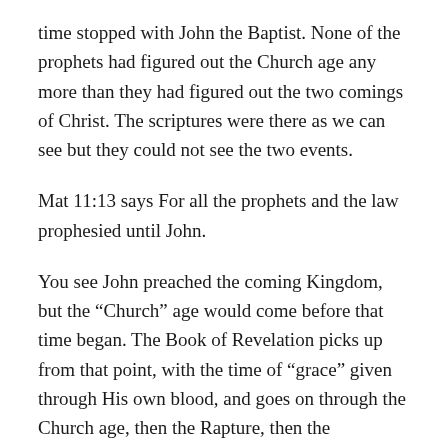time stopped with John the Baptist. None of the prophets had figured out the Church age any more than they had figured out the two comings of Christ. The scriptures were there as we can see but they could not see the two events.
Mat 11:13 says For all the prophets and the law prophesied until John.
You see John preached the coming Kingdom, but the “Church” age would come before that time began. The Book of Revelation picks up from that point, with the time of “grace” given through His own blood, and goes on through the Church age, then the Rapture, then the Tribulation period, then the Millennial Kingdom(which John was preaching) and then to “Eternal Life” in the New Heavens and a New Earth...